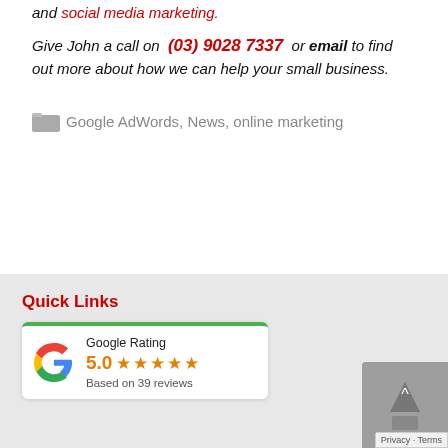and social media marketing.
Give John a call on (03) 9028 7337 or email to find out more about how we can help your small business.
Google AdWords, News, online marketing
Quick Links
[Figure (other): Google Rating card showing 5.0 stars based on 39 reviews]